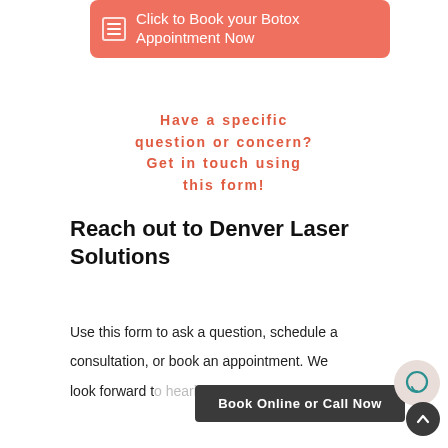[Figure (screenshot): Salmon/coral colored button banner with menu icon and text 'Click to Book your Botox Appointment Now']
Have a specific question or concern? Get in touch using this form!
Reach out to Denver Laser Solutions
Use this form to ask a question, schedule a consultation, or book an appointment. We look forward t... you!
[Figure (screenshot): Dark gray 'Book Online or Call Now' button overlay at bottom]
[Figure (screenshot): Chat bubble FAB and scroll-to-top dark circle button at bottom right]